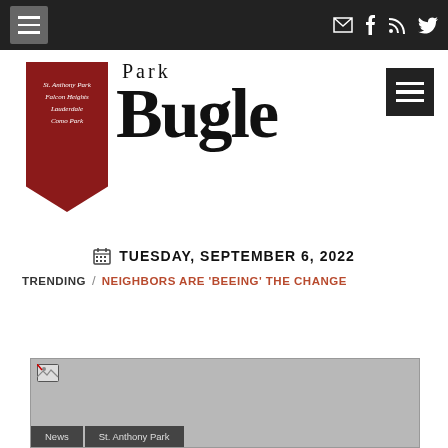Park Bugle navigation bar with hamburger menu and social icons
[Figure (logo): Park Bugle newspaper logo: dark red ribbon banner on left with italic text 'St. Anthony Park, Falcon Heights, Lauderdale, Como Park'; large bold serif 'Bugle' wordmark with smaller 'Park' above; dark square hamburger menu on right]
TUESDAY, SEPTEMBER 6, 2022
TRENDING / NEIGHBORS ARE 'BEEING' THE CHANGE
[Figure (photo): Image placeholder (broken image icon) with gray background; tags 'News' and 'St. Anthony Park' overlaid at bottom]